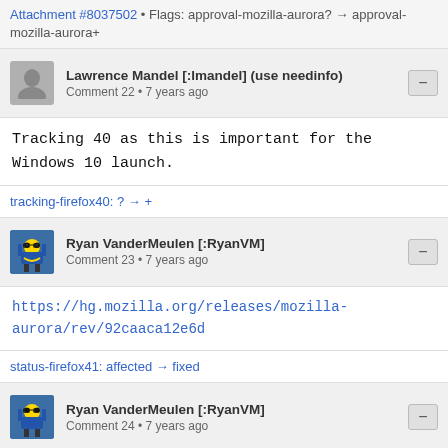Attachment #8037502 • Flags: approval-mozilla-aurora? → approval-mozilla-aurora+
Lawrence Mandel [:lmandel] (use needinfo)
Comment 22 • 7 years ago
Tracking 40 as this is important for the Windows 10 launch.
tracking-firefox40: ? → +
Ryan VanderMeulen [:RyanVM]
Comment 23 • 7 years ago
https://hg.mozilla.org/releases/mozilla-aurora/rev/92caaca12e6d
status-firefox41: affected → fixed
Ryan VanderMeulen [:RyanVM]
Comment 24 • 7 years ago